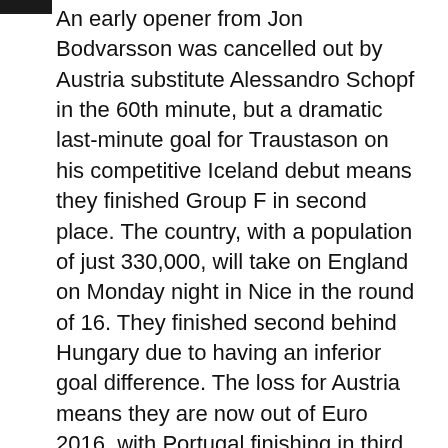An early opener from Jon Bodvarsson was cancelled out by Austria substitute Alessandro Schopf in the 60th minute, but a dramatic last-minute goal for Traustason on his competitive Iceland debut means they finished Group F in second place. The country, with a population of just 330,000, will take on England on Monday night in Nice in the round of 16. They finished second behind Hungary due to having an inferior goal difference. The loss for Austria means they are now out of Euro 2016, with Portugal finishing in third place after drawing 3-3 with Hungary.
Austria re-called defender Aleksandar Dragovic into the starting lineup after he picked up a suspension in the first game, while Iceland kept the same first XI that saw them draw 1-1 with Hungary. The game began in a frantic fashion as in just the second minute, Iceland gave their first warning sign when forward Johann Gudmundsson took the ball on from outside the box and his effort curled off the left post of the...